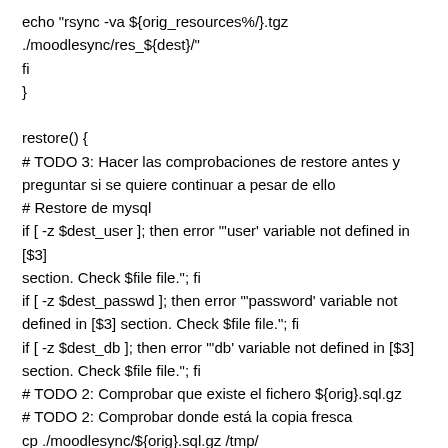echo "rsync -va ${orig_resources%/}.tgz ./moodlesync/res_${dest}/"
fi
}

restore() {
# TODO 3: Hacer las comprobaciones de restore antes y preguntar si se quiere continuar a pesar de ello
# Restore de mysql
if [ -z $dest_user ]; then error "'user' variable not defined in [$3] section. Check $file file."; fi
if [ -z $dest_passwd ]; then error "'password' variable not defined in [$3] section. Check $file file."; fi
if [ -z $dest_db ]; then error "'db' variable not defined in [$3] section. Check $file file."; fi
# TODO 2: Comprobar que existe el fichero ${orig}.sql.gz
# TODO 2: Comprobar donde está la copia fresca
cp ./moodlesync/${orig}.sql.gz /tmp/
gunzip /tmp/${orig}.sql.gz
mysql -u${dest_user} -p${dest_passwd} ${dest_db} <